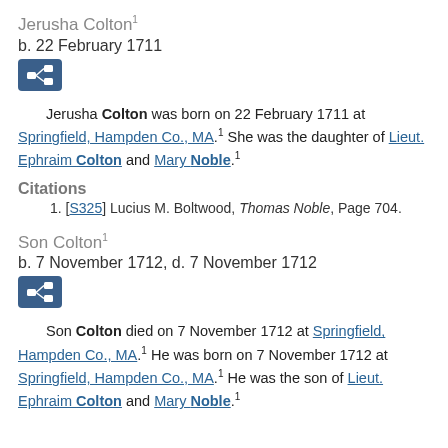Jerusha Colton¹
b. 22 February 1711
[Figure (other): Blue icon button with family tree/pedigree symbol]
Jerusha Colton was born on 22 February 1711 at Springfield, Hampden Co., MA.¹ She was the daughter of Lieut. Ephraim Colton and Mary Noble.¹
Citations
1. [S325] Lucius M. Boltwood, Thomas Noble, Page 704.
Son Colton¹
b. 7 November 1712, d. 7 November 1712
[Figure (other): Blue icon button with family tree/pedigree symbol]
Son Colton died on 7 November 1712 at Springfield, Hampden Co., MA.¹ He was born on 7 November 1712 at Springfield, Hampden Co., MA.¹ He was the son of Lieut. Ephraim Colton and Mary Noble.¹